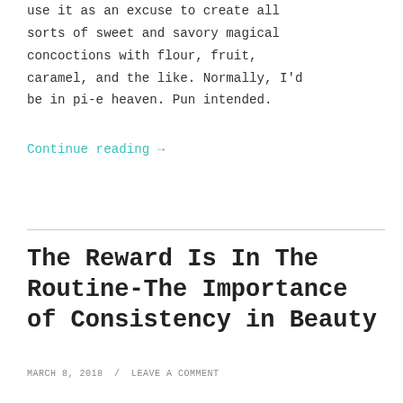use it as an excuse to create all sorts of sweet and savory magical concoctions with flour, fruit, caramel, and the like. Normally, I'd be in pi-e heaven. Pun intended.
Continue reading →
The Reward Is In The Routine-The Importance of Consistency in Beauty
MARCH 8, 2018 / LEAVE A COMMENT